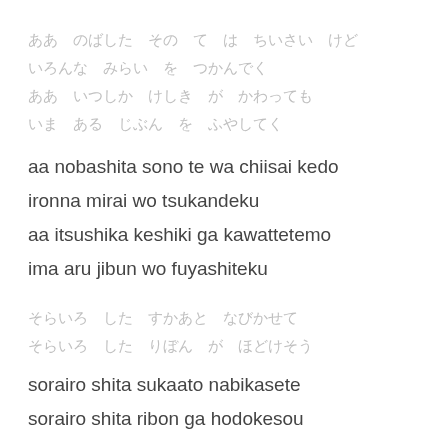ああ　のばした　その　て　は　ちいさい　けど
いろんな　みらい　を　つかんでく
ああ　いつしか　けしき　が　かわっても
いま　ある　じぶん　を　ふやしてく
aa nobashita sono te wa chiisai kedo
ironna mirai wo tsukandeku
aa itsushika keshiki ga kawattetemo
ima aru jibun wo fuyashiteku
そらいろ　した　すかあと　なびかせて
そらいろ　した　りぼん　が　ほどけそう
sorairo shita sukaato nabikasete
sorairo shita ribon ga hodokesou
そらいろのひかり